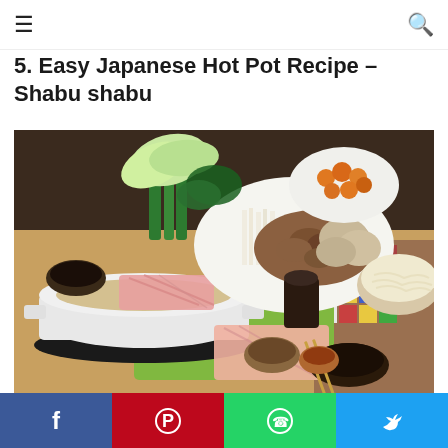≡  🔍
5. Easy Japanese Hot Pot Recipe – Shabu shabu
[Figure (photo): A shabu shabu Japanese hot pot spread on a table with a large white pot of broth on a heating element, surrounded by plates of thinly sliced meat, various mushrooms, leafy green vegetables (bok choy, watercress), enoki mushrooms, a bowl of noodles, dipping sauces in small bowls, and chopsticks on a colorful placemat.]
Facebook | Pinterest | WhatsApp | Twitter